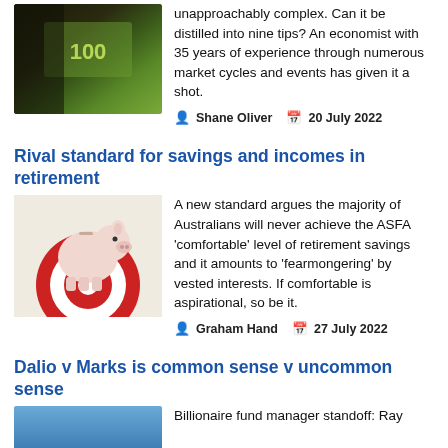[Figure (photo): Australian $100 banknote, green, fanned out]
unapproachably complex. Can it be distilled into nine tips? An economist with 35 years of experience through numerous market cycles and events has given it a shot.
Shane Oliver   20 July 2022
Rival standard for savings and incomes in retirement
[Figure (photo): White piggy bank on red and white target/bullseye]
A new standard argues the majority of Australians will never achieve the ASFA 'comfortable' level of retirement savings and it amounts to 'fearmongering' by vested interests. If comfortable is aspirational, so be it.
Graham Hand   27 July 2022
Dalio v Marks is common sense v uncommon sense
[Figure (photo): Partial image, blue tones]
Billionaire fund manager standoff: Ray